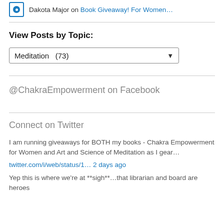Dakota Major on Book Giveaway! For Women…
View Posts by Topic:
Meditation  (73)
@ChakraEmpowerment on Facebook
Connect on Twitter
I am running giveaways for BOTH my books - Chakra Empowerment for Women and Art and Science of Meditation as I gear…
twitter.com/i/web/status/1… 2 days ago
Yep this is where we're at **sigh**…that librarian and board are heroes